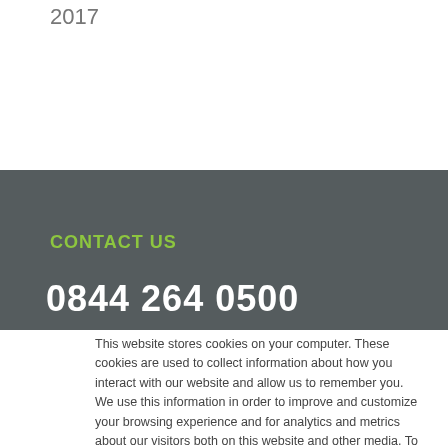2017
CONTACT US
0844 264 0500
This website stores cookies on your computer. These cookies are used to collect information about how you interact with our website and allow us to remember you. We use this information in order to improve and customize your browsing experience and for analytics and metrics about our visitors both on this website and other media. To find out more about the cookies we use, see our Privacy Policy
Accept